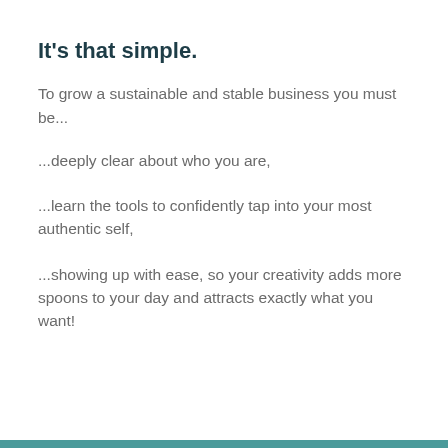It's that simple.
To grow a sustainable and stable business you must be...
...deeply clear about who you are,
...learn the tools to confidently tap into your most authentic self,
...showing up with ease, so your creativity adds more spoons to your day and attracts exactly what you want!